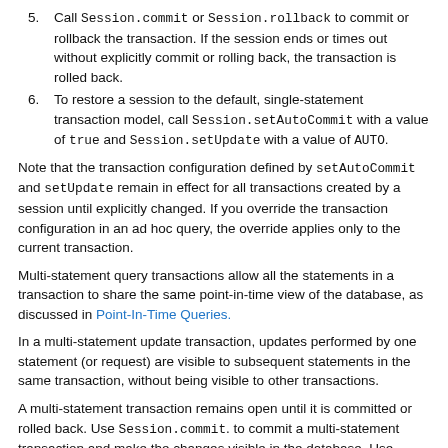5. Call Session.commit or Session.rollback to commit or rollback the transaction. If the session ends or times out without explicitly commit or rolling back, the transaction is rolled back.
6. To restore a session to the default, single-statement transaction model, call Session.setAutoCommit with a value of true and Session.setUpdate with a value of AUTO.
Note that the transaction configuration defined by setAutoCommit and setUpdate remain in effect for all transactions created by a session until explicitly changed. If you override the transaction configuration in an ad hoc query, the override applies only to the current transaction.
Multi-statement query transactions allow all the statements in a transaction to share the same point-in-time view of the database, as discussed in Point-In-Time Queries.
In a multi-statement update transaction, updates performed by one statement (or request) are visible to subsequent statements in the same transaction, without being visible to other transactions.
A multi-statement transaction remains open until it is committed or rolled back. Use Session.commit. to commit a multi-statement transaction and make the changes visible in the database. Use Session.rollback to roll back a multi-statement transaction, discarding any updates. Multi-statement transactions are implicitly